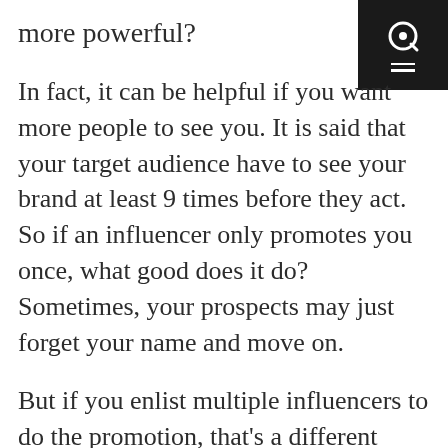more powerful?
[Figure (logo): Black square logo box with a circular Q-like icon and two horizontal menu lines in white]
In fact, it can be helpful if you want more people to see you. It is said that your target audience have to see your brand at least 9 times before they act. So if an influencer only promotes you once, what good does it do? Sometimes, your prospects may just forget your name and move on.
But if you enlist multiple influencers to do the promotion, that’s a different story. When you do this, it is important to choose influencers in the same industry. This way, the target market will be limited. Then, you’ll send out